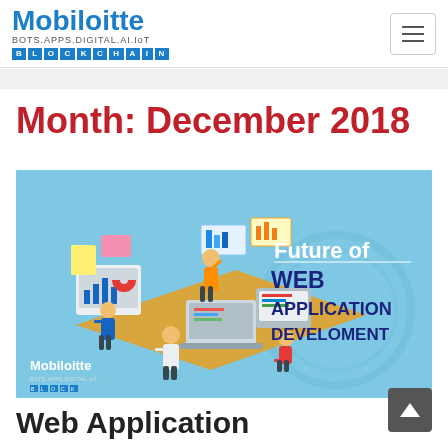Mobiloitte BOTS.APPS.DIGITAL.AI.IoT BLOCKCHAIN
Month: December 2018
[Figure (illustration): Promotional banner for Mobiloitte showing isometric illustration of people working with digital interfaces and text 'Future of WEB APPLICATION DEVELOMENT' with Mobiloitte logo in bottom left corner]
Web Application